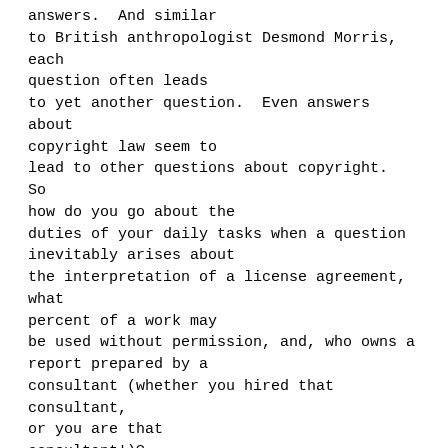answers.  And similar to British anthropologist Desmond Morris, each question often leads to yet another question.  Even answers about copyright law seem to lead to other questions about copyright.  So how do you go about the duties of your daily tasks when a question inevitably arises about the interpretation of a license agreement, what percent of a work may be used without permission, and, who owns a report prepared by a consultant (whether you hired that consultant, or you are that consultant!)?
Part of copyright management is dealing with the multitude of questions without constant delays in work and large attorney bills.